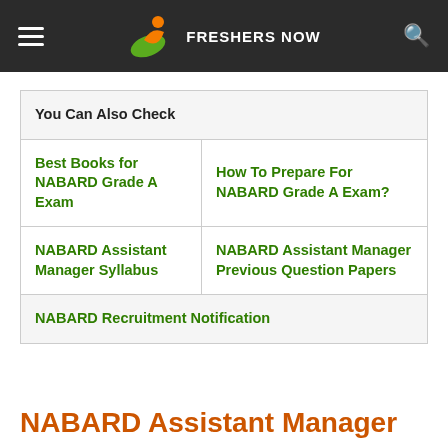FRESHERS NOW
| You Can Also Check |  |
| --- | --- |
| Best Books for NABARD Grade A Exam | How To Prepare For NABARD Grade A Exam? |
| NABARD Assistant Manager Syllabus | NABARD Assistant Manager Previous Question Papers |
| NABARD Recruitment Notification |  |
NABARD Assistant Manager